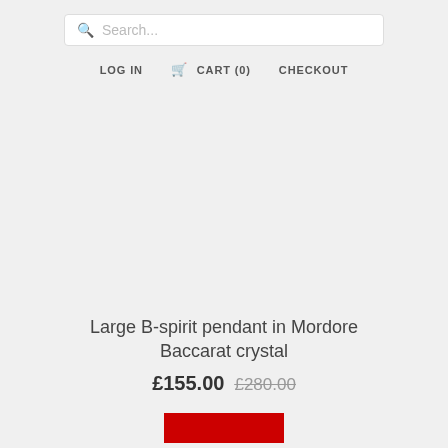Search...
LOG IN  CART (0)  CHECKOUT
[Figure (photo): Product image area (empty/white) for Large B-spirit pendant in Mordore Baccarat crystal]
Large B-spirit pendant in Mordore Baccarat crystal
£155.00  £280.00